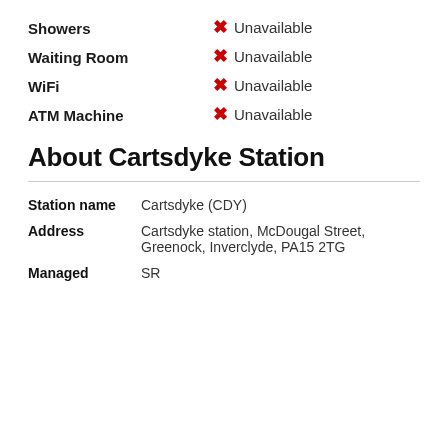Showers — Unavailable
Waiting Room — Unavailable
WiFi — Unavailable
ATM Machine — Unavailable
About Cartsdyke Station
| Field | Value |
| --- | --- |
| Station name | Cartsdyke (CDY) |
| Address | Cartsdyke station, McDougal Street, Greenock, Inverclyde, PA15 2TG |
| Managed | SR |